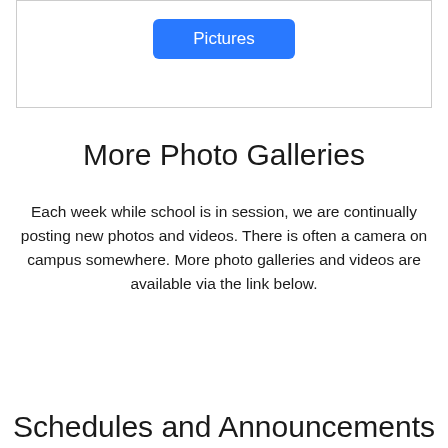[Figure (screenshot): Box with a blue 'Pictures' button centered near the top]
More Photo Galleries
Each week while school is in session, we are continually posting new photos and videos. There is often a camera on campus somewhere. More photo galleries and videos are available via the link below.
[Figure (screenshot): Blue 'Photo Galleries' button]
Schedules and Announcements